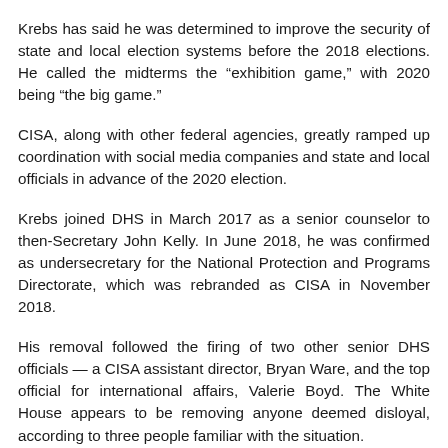Krebs has said he was determined to improve the security of state and local election systems before the 2018 elections. He called the midterms the “exhibition game,” with 2020 being “the big game.”
CISA, along with other federal agencies, greatly ramped up coordination with social media companies and state and local officials in advance of the 2020 election.
Krebs joined DHS in March 2017 as a senior counselor to then-Secretary John Kelly. In June 2018, he was confirmed as undersecretary for the National Protection and Programs Directorate, which was rebranded as CISA in November 2018.
His removal followed the firing of two other senior DHS officials — a CISA assistant director, Bryan Ware, and the top official for international affairs, Valerie Boyd. The White House appears to be removing anyone deemed disloyal, according to three people familiar with the situation.